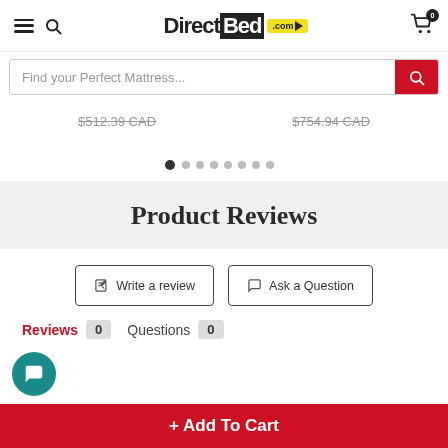DirectBed.com
[Figure (screenshot): Search bar with placeholder text 'Find your Perfect Mattress...' and red search button]
$512.39 CAD
$754.94 CAD
[Figure (infographic): Carousel pagination dots, first dot active]
Product Reviews
[Figure (screenshot): Write a review button and Ask a Question button]
Reviews 0   Questions 0
[Figure (infographic): Teal chat bubble icon in bottom left]
+ Add To Cart